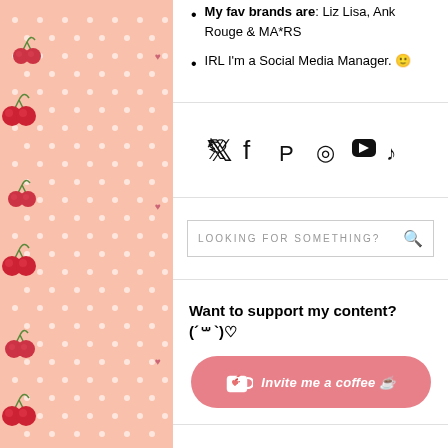My fav brands are: Liz Lisa, Ank Rouge & MA*RS
IRL I'm a Social Media Manager. 🙂
[Figure (infographic): Social media icons: Twitter, Facebook, Pinterest, Instagram, YouTube, TikTok]
[Figure (infographic): Search box with placeholder text LOOKING FOR SOMETHING? and search icon]
Want to support my content? (´꒳`)♡
[Figure (infographic): Pink rounded button with Ko-fi cup icon: Invite me a coffee ☕]